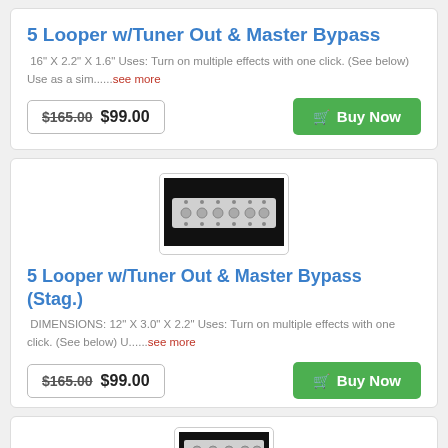5 Looper w/Tuner Out & Master Bypass
16" X 2.2" X 1.6" Uses: Turn on multiple effects with one click. (See below) Use as a sim......see more
$165.00  $99.00
Buy Now
[Figure (photo): Photo of a 5 looper effects pedal unit — white rectangular hardware device with multiple knobs and jacks on black background]
5 Looper w/Tuner Out & Master Bypass (Stag.)
DIMENSIONS: 12" X 3.0" X 2.2" Uses: Turn on multiple effects with one click. (See below) U......see more
$165.00  $99.00
Buy Now